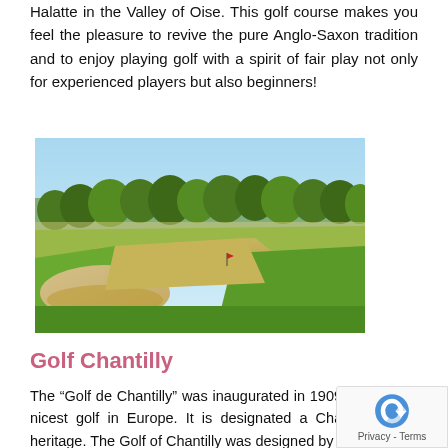Halatte in the Valley of Oise. This golf course makes you feel the pleasure to revive the pure Anglo-Saxon tradition and to enjoy playing golf with a spirit of fair play not only for experienced players but also beginners!
[Figure (photo): Golf course with sand bunkers in the foreground, fairway and trees in the background under a clear blue sky.]
Golf Chantilly
The “Golf de Chantilly” was inaugurated in 1909. This is the nicest golf in Europe. It is designated a Châte Chantilly heritage. The Golf of Chantilly was designed by the